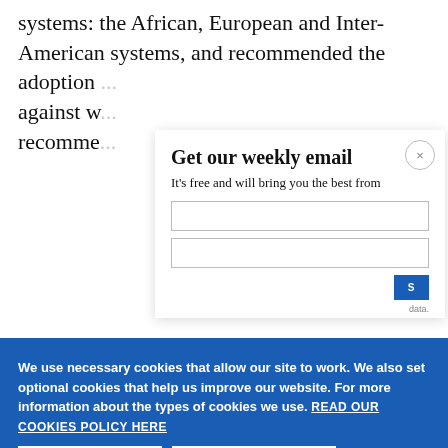systems: the African, European and Inter-American systems, and recommended the adoption of a protocol that protects against w... recomme...
[Figure (screenshot): Email subscription modal overlay with title 'Get our weekly email' and subtitle 'It’s free and will bring you the best from', with a close (x) button]
[Figure (screenshot): Blue cookie consent banner reading 'We use necessary cookies that allow our site to work. We also set optional cookies that help us improve our website. For more information about the types of cookies we use. READ OUR COOKIES POLICY HERE' with COOKIE and ALLOW buttons]
[Figure (screenshot): White popup tooltip with blue link text 'Abolition - what does it really mean?' and date '2 days ago', with X close button]
human r...